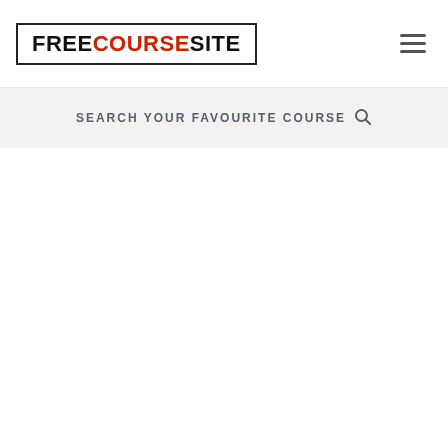[Figure (logo): FreeCourse Site logo in a black-bordered rectangle. 'FREE' and 'SITE' in black bold uppercase, 'COURSE' in red bold uppercase.]
SEARCH YOUR FAVOURITE COURSE